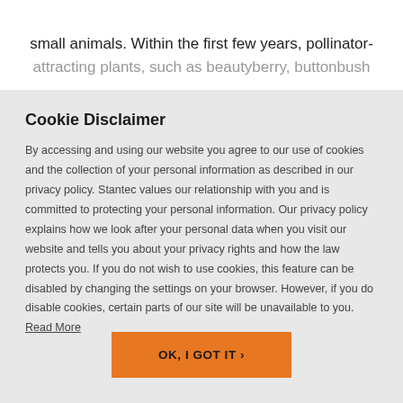small animals. Within the first few years, pollinator-attracting plants, such as beautyberry, buttonbush
Cookie Disclaimer
By accessing and using our website you agree to our use of cookies and the collection of your personal information as described in our privacy policy. Stantec values our relationship with you and is committed to protecting your personal information. Our privacy policy explains how we look after your personal data when you visit our website and tells you about your privacy rights and how the law protects you. If you do not wish to use cookies, this feature can be disabled by changing the settings on your browser. However, if you do disable cookies, certain parts of our site will be unavailable to you. Read More
OK, I GOT IT ›